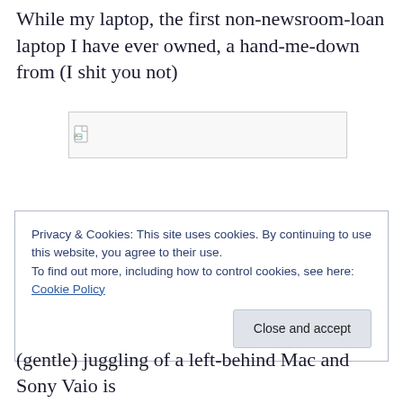While my laptop, the first non-newsroom-loan laptop I have ever owned, a hand-me-down from (I shit you not)
[Figure (other): Broken/missing image placeholder with small icon]
Privacy & Cookies: This site uses cookies. By continuing to use this website, you agree to their use.
To find out more, including how to control cookies, see here: Cookie Policy
[Close and accept button]
(gentle) juggling of a left-behind Mac and Sony Vaio is